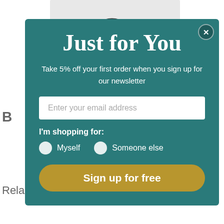[Figure (photo): Partial headphone image visible at top of page behind modal]
Just for You
Take 5% off your first order when you sign up for our newsletter
Enter your email address (input field)
I'm shopping for:
Myself   Someone else
Sign up for free